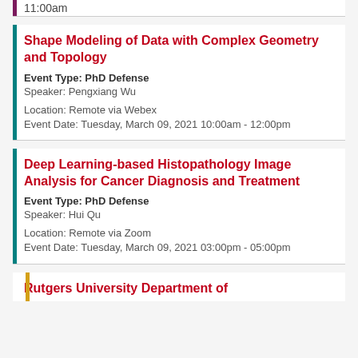11:00am
Shape Modeling of Data with Complex Geometry and Topology
Event Type: PhD Defense
Speaker: Pengxiang Wu
Location: Remote via Webex
Event Date: Tuesday, March 09, 2021 10:00am - 12:00pm
Deep Learning-based Histopathology Image Analysis for Cancer Diagnosis and Treatment
Event Type: PhD Defense
Speaker: Hui Qu
Location: Remote via Zoom
Event Date: Tuesday, March 09, 2021 03:00pm - 05:00pm
Rutgers University Department of